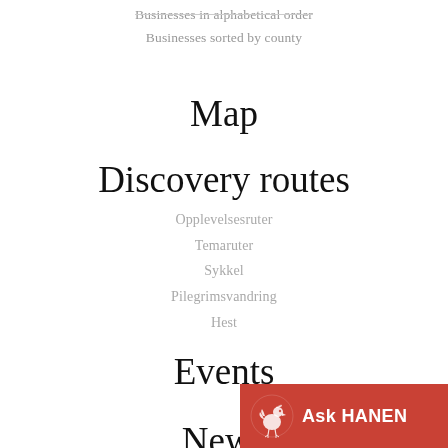Businesses in alphabetical order
Businesses sorted by county
Map
Discovery routes
Opplevelsesruter
Temaruter
Sykkel
Pilegrimsvandring
Hest
Events
News
Prosjekter
[Figure (logo): Ask HANEN button with rooster logo on red background]